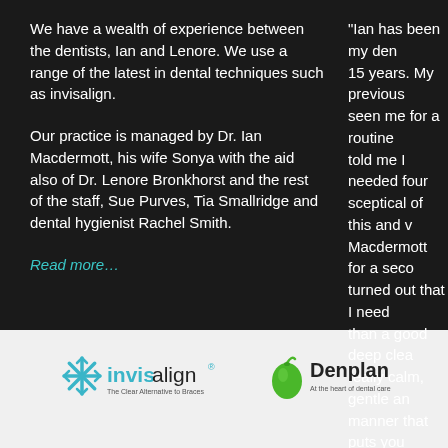We have a wealth of experience between the dentists, Ian and Lenore. We use a range of the latest in dental techniques such as invisalign.
Our practice is managed by Dr. Ian Macdermott, his wife Sonya with the aid also of Dr. Lenore Bronkhorst and the rest of the staff, Sue Purves, Tia Smallridge and dental hygienist Rachel Smith.
Read more...
"Ian has been my den... 15 years. My previous... seen me for a routine... told me I needed four... sceptical of this and w... Macdermott for a seco... turned out that I need... than a good deep clea... really calm, gentle an... manner that puts you... you visit the dentist a... recommend him very...
[Figure (logo): Invisalign logo with snowflake icon and tagline 'The Clear Alternative to Braces']
[Figure (logo): Denplan logo with green apple icon and tagline 'At the heart of dental care']